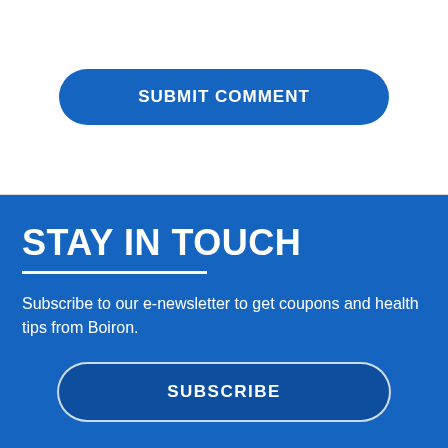SUBMIT COMMENT
STAY IN TOUCH
Subscribe to our e-newsletter to get coupons and health tips from Boiron.
SUBSCRIBE